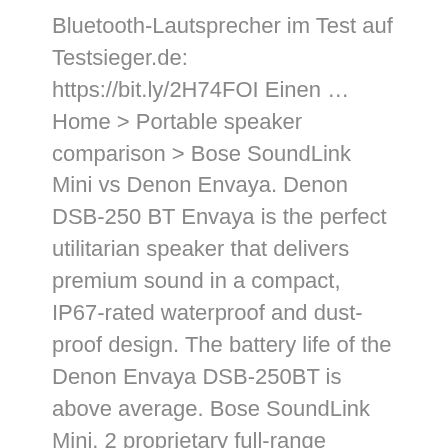Bluetooth-Lautsprecher im Test auf Testsieger.de: https://bit.ly/2H74FOI Einen … Home > Portable speaker comparison > Bose SoundLink Mini vs Denon Envaya. Denon DSB-250 BT Envaya is the perfect utilitarian speaker that delivers premium sound in a compact, IP67-rated waterproof and dust-proof design. The battery life of the Denon Envaya DSB-250BT is above average. Bose SoundLink Mini. 2 proprietary full-range drivers paired with a passive radiator, and a high-efficiency digital amplifier coupled with innovative signal-processing technologies create an immersive … Envaya DSB-200BK Portable Bluetooth Speaker System. It will last you for approximately 13 hours, give or take, depending on the volume. 44 points. Specs Downloads Reviews And Awards Technology Features - Envaya. Removed from the primary of its